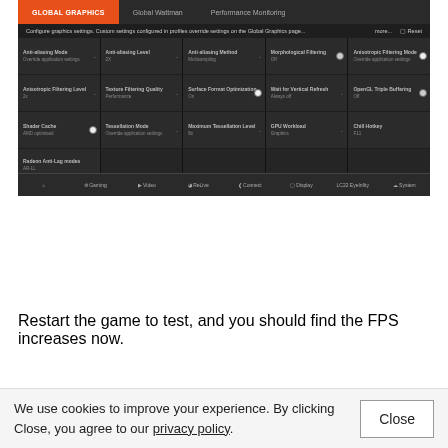[Figure (screenshot): AMD Radeon Software screenshot showing Global Graphics settings panel with options like Anti-aliasing Mode, Anti-aliasing Level, Anti-aliasing Method, Morphological Filtering, Anisotropic Filtering Mode, Shader Cache, Tessellation Mode, Maximum Tessellation Level, GPU Workload, Chill Hotkey, Radeon Anti-Lag modes, Frame Rate Target Control. Bottom navigation bar shows Gaming, Video, ReLive, Connect, Display, LC22 EyeInfity, System tabs.]
Restart the game to test, and you should find the FPS increases now.
We use cookies to improve your experience. By clicking Close, you agree to our privacy policy.